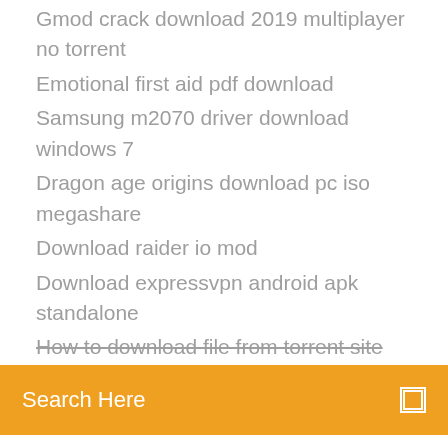Gmod crack download 2019 multiplayer no torrent
Emotional first aid pdf download
Samsung m2070 driver download windows 7
Dragon age origins download pc iso megashare
Download raider io mod
Download expressvpn android apk standalone
How to download file from torrent site
Search Here
The following is a list of episodes of the American science fiction television drama Eureka. Seventy-seven episodes were aired over five seasons. In addition to these episodes, there is a short webisode series called *Hide Contents. 1 Series overview; 2 Episodes. 2.1 Season 1 (2006); 2.2 Season 2 (2007); 2.3 Season 3
[Figure (other): Social media icons: Facebook (f), Twitter bird, asterisk/globe icon, Behance (Be)]
How to write a review Episode t Id...